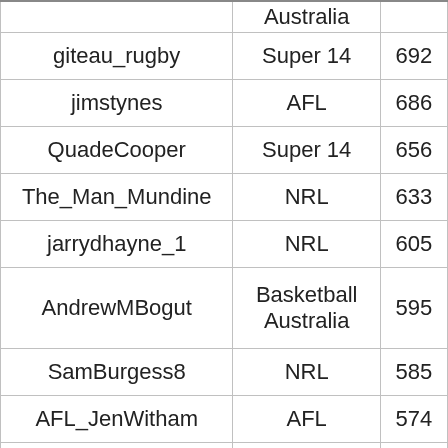| Username | Sport/Category | Count |
| --- | --- | --- |
|  | Australia |  |
| giteau_rugby | Super 14 | 692 |
| jimstynes | AFL | 686 |
| QuadeCooper | Super 14 | 656 |
| The_Man_Mundine | NRL | 633 |
| jarrydhayne_1 | NRL | 605 |
| AndrewMBogut | Basketball Australia | 595 |
| SamBurgess8 | NRL | 585 |
| AFL_JenWitham | AFL | 574 |
| JamesOConnor832 | Super 14 | 573 |
| LoteTuqiri | NRL | 562 |
| BrendanFevola05 | AFL | 513 |
| RealBigDell | NRL | 513 |
| scottprince7 | NRL | 511 |